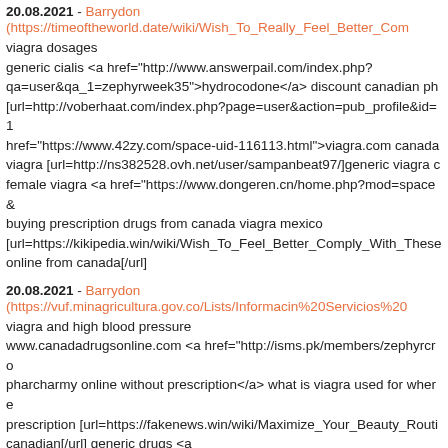20.08.2021 - Barrydon
(https://timeoftheworld.date/wiki/Wish_To_Really_Feel_Better_Com
viagra dosages
generic cialis <a href="http://www.answerpail.com/index.php?qa=user&qa_1=zephyrweek35">hydrocodone</a> discount canadian ph
[url=http://voberhaat.com/index.php?page=user&action=pub_profile&id=1
href="https://www.42zy.com/space-uid-116113.html">viagra.com canada
viagra [url=http://ns382528.ovh.net/user/sampanbeat97/]generic viagra c
female viagra <a href="https://www.dongeren.cn/home.php?mod=space&
buying prescription drugs from canada viagra mexico
[url=https://kikipedia.win/wiki/Wish_To_Feel_Better_Comply_With_These
online from canada[/url]
20.08.2021 - Barrydon
(https://vuf.minagricultura.gov.co/Lists/Informacin%20Servicios%20
viagra and high blood pressure
www.canadadrugsonline.com <a href="http://isms.pk/members/zephyrcro
pharcharmy online without prescription</a> what is viagra used for where
prescription [url=https://fakenews.win/wiki/Maximize_Your_Beauty_Routi
canadian[/url] generic drugs <a
href="https://opensourcebridge.science/wiki/How_To_Order_As_Well_As
pharmacy</a> adhp viagra plus [url=https://pastebin.pl/view/7d362eae]vi
cialis generic <a href="http://www.dhakirti.com/index.php?qa=user&qa_1